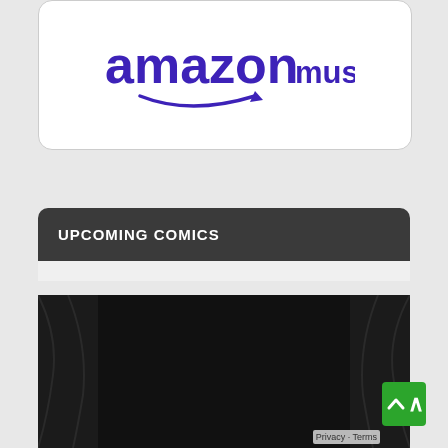[Figure (logo): Amazon Music logo in purple/indigo with smile arrow]
UPCOMING COMICS
[Figure (photo): Dark image with green neon glowing text showing 03-22-22 and DC vs Vampires #6]